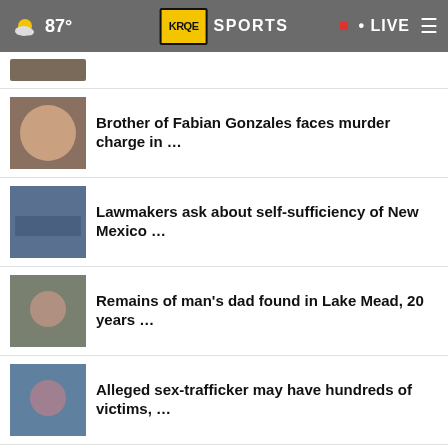87° KRQE SPORTS • LIVE
Brother of Fabian Gonzales faces murder charge in …
Lawmakers ask about self-sufficiency of New Mexico …
Remains of man's dad found in Lake Mead, 20 years …
Alleged sex-trafficker may have hundreds of victims, …
Texas confirms 1st monkeypox death; could be 1st …
[Figure (infographic): GET DOWN WITH YOUR BLOOD PRESSURE advertisement banner with ACT NOW button and logos]
Depends on where …